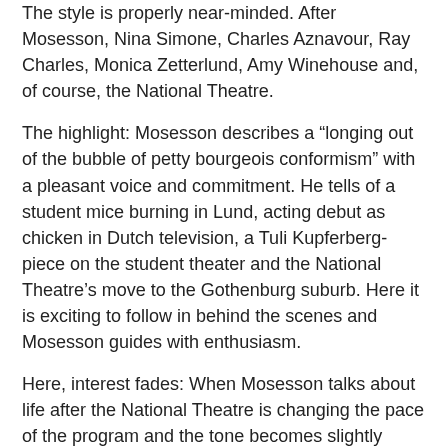The style is properly near-minded. After Mosesson, Nina Simone, Charles Aznavour, Ray Charles, Monica Zetterlund, Amy Winehouse and, of course, the National Theatre.
The highlight: Mosesson describes a “longing out of the bubble of petty bourgeois conformism” with a pleasant voice and commitment. He tells of a student mice burning in Lund, acting debut as chicken in Dutch television, a Tuli Kupferberg-piece on the student theater and the National Theatre’s move to the Gothenburg suburb. Here it is exciting to follow in behind the scenes and Mosesson guides with enthusiasm.
Here, interest fades: When Mosesson talks about life after the National Theatre is changing the pace of the program and the tone becomes slightly wistful resignation. The breakthrough Ica Stig of the masses appears as no highlight for Mosesson personally. When he ends by saying that he hopes that people will stop caring about the status of Gadgets tone of the program changed to something reminiscent of a Sunday sermon.
[Figure (other): Facebook and Twitter social sharing icons]